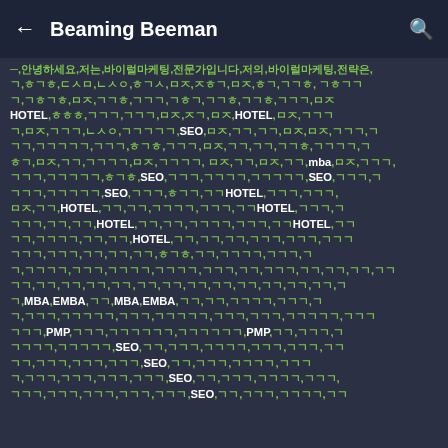← Beaming Beeman 🔍
Mixed Korean/Chinese text content with keywords: HOTEL, SEO, mba, MBA, EMBA, PMP repeated throughout dense keyword-stuffed content block.